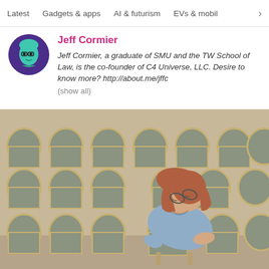Latest   Gadgets & apps   AI & futurism   EVs & mobil >
Jeff Cormier
Jeff Cormier, a graduate of SMU and the TW School of Law, is the co-founder of C4 Universe, LLC. Desire to know more? http://about.me/jffc
(show all)
[Figure (photo): A woman with reddish-brown hair sleeping in a chair in an auditorium filled with round-backed gray chairs arranged in rows.]